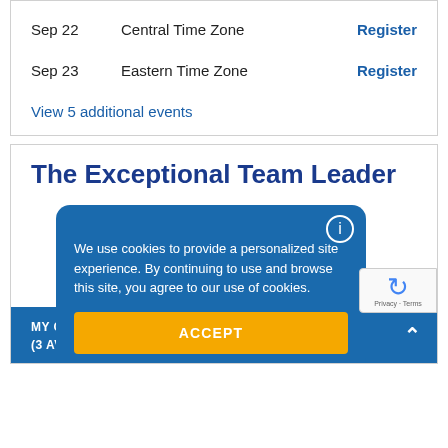| Date | Time Zone | Action |
| --- | --- | --- |
| Sep 22 | Central Time Zone | Register |
| Sep 23 | Eastern Time Zone | Register |
View 5 additional events
The Exceptional Team Leader
We use cookies to provide a personalized site experience. By continuing to use and browse this site, you agree to our use of cookies.
ACCEPT
MY OFFERS
(3 AVAILABLE)